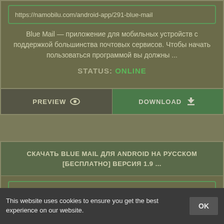https://namobilu.com/android-app/291-blue-mail
Blue Mail — приложение для мобильных устройств с поддержкой большинства почтовых сервисов. Чтобы начать пользоваться программой вы должны ...
STATUS: ONLINE
PREVIEW
DOWNLOAD
СКАЧАТЬ BLUE MAIL ДЛЯ ANDROID НА РУССКОМ [БЕСПЛАТНО] ВЕРСИЯ 1.9 ...
https://biblsoft.ru/android/internet/mail-clients/1896-blue-mail
Blue Mail (Блю Мейл) - Многофункциональный почтовый ...
This website uses cookies to ensure you get the best experience on our website.